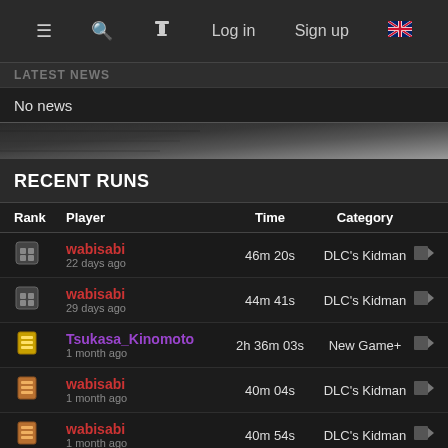≡  🔍  ⏱  Log in  Sign up  🇬🇧
LATEST NEWS
No news
[Figure (photo): Dark banner image with textured background]
RECENT RUNS
| Rank | Player | Time | Category |
| --- | --- | --- | --- |
| (medal) | wabisabi
22 days ago | 46m 20s | DLC's Kidman |
| (medal) | wabisabi
29 days ago | 44m 41s | DLC's Kidman |
| (medal) | Tsukasa_Kinomoto
1 month ago | 2h 36m 03s | New Game+ |
| (medal) | wabisabi
1 month ago | 40m 04s | DLC's Kidman |
| (medal) | wabisabi
1 month ago | 40m 54s | DLC's Kidman |
| 7th | Vizofsky
2 months ago | 3h 00m 30s | New Game+ |